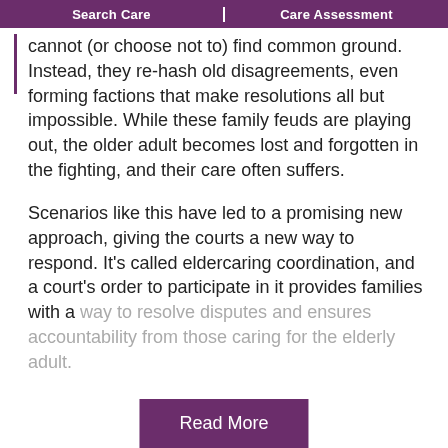Search Care | Care Assessment
cannot (or choose not to) find common ground. Instead, they re-hash old disagreements, even forming factions that make resolutions all but impossible. While these family feuds are playing out, the older adult becomes lost and forgotten in the fighting, and their care often suffers.
Scenarios like this have led to a promising new approach, giving the courts a new way to respond. It's called eldercaring coordination, and a court's order to participate in it provides families with a way to resolve disputes and ensures accountability from those caring for the elderly adult.
Read More